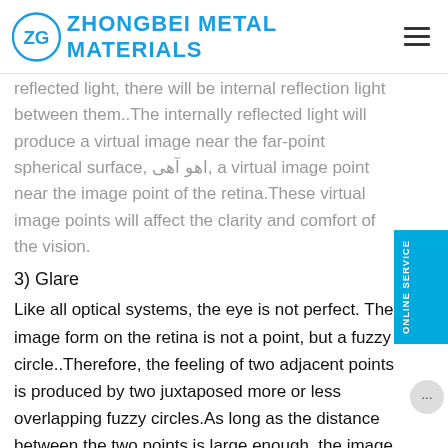ZHONGBEI METAL MATERIALS
reflected light, there will be internal reflection light between them..The internally reflected light will produce a virtual image near the far-point spherical surface, اهو آهی, a virtual image point near the image point of the retina.These virtual image points will affect the clarity and comfort of the vision.
3) Glare
Like all optical systems, the eye is not perfect. The image formed on the retina is not a point, but a fuzzy circle..Therefore, the feeling of two adjacent points is produced by two juxtaposed more or less overlapping fuzzy circles.As long as the distance between the two points is large enough, the image on the retina will produce the sensation of two points, but if the two points are too close, the two fuzzy circles will tend to overlap and be mistaken for one point.
Contrast can be used to reflect this phenomenon and express the clarity of vision.The contrast value must be greater than a